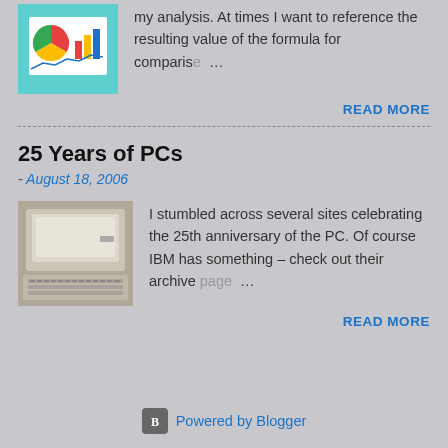[Figure (illustration): Blog post thumbnail showing a pie chart, bar chart, and line chart on a teal/cyan background]
my analysis. At times I want to reference the resulting value of the formula for comparis…
READ MORE
25 Years of PCs
- August 18, 2006
[Figure (photo): Photo of an old IBM PC with keyboard]
I stumbled across several sites celebrating the 25th anniversary of the PC. Of course IBM has something – check out their archive page …
READ MORE
Powered by Blogger